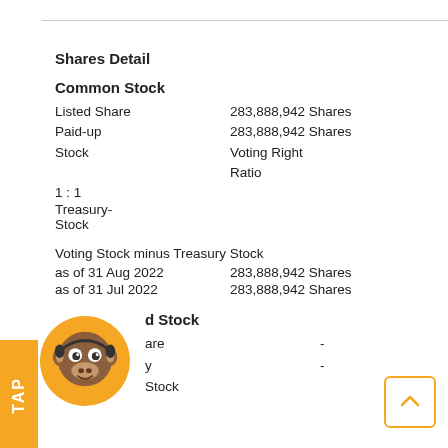Shares Detail
Common Stock
| Listed Share | 283,888,942 Shares |
| Paid-up | 283,888,942 Shares |
| Stock | Voting Right Ratio |
| 1 : 1 |  |
| Treasury Stock | - |
Voting Stock minus Treasury Stock
| as of 31 Aug 2022 | 283,888,942 Shares |
| as of 31 Jul 2022 | 283,888,942 Shares |
Preferred Stock
| Listed Share | - |
| Paid-up Stock | - |